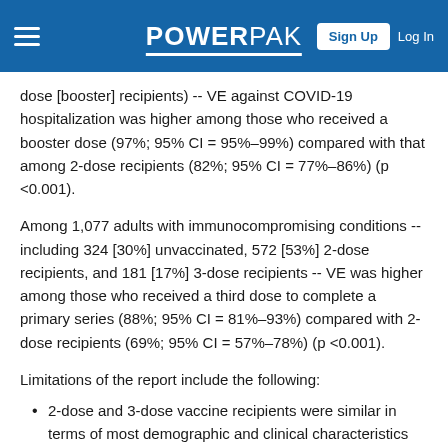POWERPAK — Sign Up  Log In
dose [booster] recipients) -- VE against COVID-19 hospitalization was higher among those who received a booster dose (97%; 95% CI = 95%–99%) compared with that among 2-dose recipients (82%; 95% CI = 77%–86%) (p <0.001).
Among 1,077 adults with immunocompromising conditions -- including 324 [30%] unvaccinated, 572 [53%] 2-dose recipients, and 181 [17%] 3-dose recipients -- VE was higher among those who received a third dose to complete a primary series (88%; 95% CI = 81%–93%) compared with 2-dose recipients (69%; 95% CI = 57%–78%) (p <0.001).
Limitations of the report include the following:
2-dose and 3-dose vaccine recipients were similar in terms of most demographic and clinical characteristics but might have differed in terms of